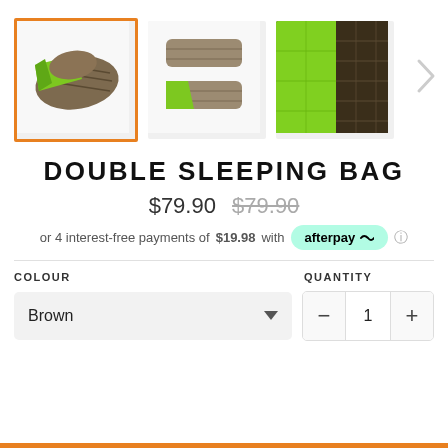[Figure (photo): Three thumbnail images of a double sleeping bag (brown and green). First thumbnail is selected (orange border). Second shows two sleeping bags stacked. Third shows close-up of green/brown fabric. Navigation arrow on right side.]
DOUBLE SLEEPING BAG
$79.90  $79.90
or 4 interest-free payments of $19.98 with afterpay
COLOUR
QUANTITY
Brown
1